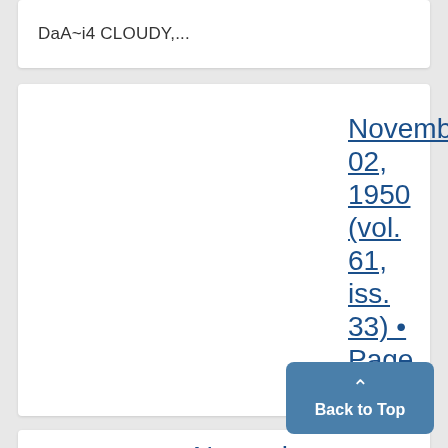DaA~i4 CLOUDY,...
November 02, 1950 (vol. 61, iss. 33) • Page Image 2
...THE MICHIGAN DAILY THURSDAY, NOVEMBER' 2, 1950 1 11.E! IT(AN 1ATT111TVRLDAY1 NOVMBER 2. 191 ...
Novemb